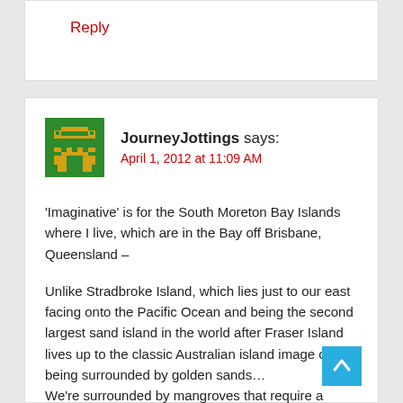Reply
[Figure (illustration): Pixel art avatar of JourneyJottings — green background with a yellow Space Invaders-style robot face]
JourneyJottings says:
April 1, 2012 at 11:09 AM
‘Imaginative’ is for the South Moreton Bay Islands where I live, which are in the Bay off Brisbane, Queensland –
Unlike Stradbroke Island, which lies just to our east facing onto the Pacific Ocean and being the second largest sand island in the world after Fraser Island lives up to the classic Australian island image of being surrounded by golden sands…
We’re surrounded by mangroves that require a